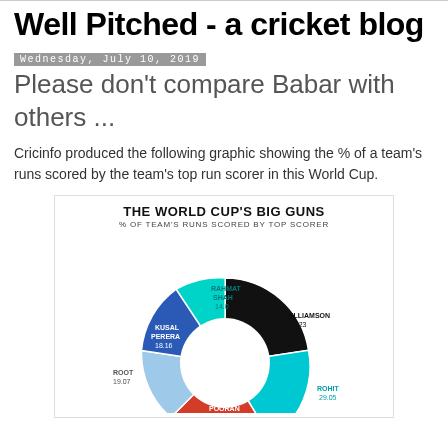Well Pitched - a cricket blog
Wednesday, July 10, 2019
Please don't compare Babar with others ...
Cricinfo produced the following graphic showing the % of a team's runs scored by the team's top run scorer in this World Cup.
[Figure (donut-chart): THE WORLD CUP'S BIG GUNS]